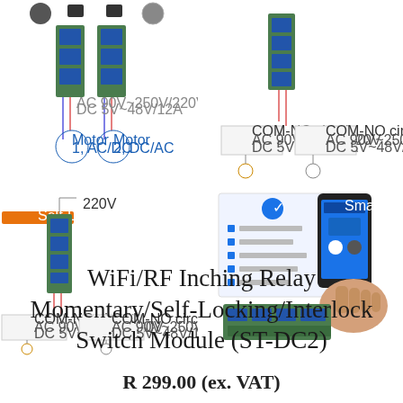[Figure (engineering-diagram): WiFi RF relay module wiring diagram showing two relay boards connected to motors, with red/blue wiring and circuit labels for COM-NC and COM-NO circuits]
[Figure (engineering-diagram): Right side circuit diagram showing COM-NC circuit and COM-NO circuit for relay module with load connections]
[Figure (engineering-diagram): Self-Locking mode wiring diagram showing 220V relay module with COM-NC and COM-NO circuit labels and load connections with light bulb]
[Figure (photo): Photo of relay module board with smartphone showing Tuya/Smart Life app interface for WiFi control]
WiFi/RF Inching Relay Momentary/Self-Locking/Interlock Switch Module (ST-DC2)
R 299.00 (ex. VAT)